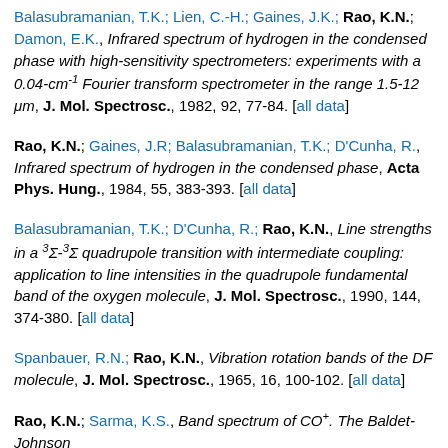Balasubramanian, T.K.; Lien, C.-H.; Gaines, J.K.; Rao, K.N.; Damon, E.K., Infrared spectrum of hydrogen in the condensed phase with high-sensitivity spectrometers: experiments with a 0.04-cm-1 Fourier transform spectrometer in the range 1.5-12 μm, J. Mol. Spectrosc., 1982, 92, 77-84. [all data]
Rao, K.N.; Gaines, J.R; Balasubramanian, T.K.; D'Cunha, R., Infrared spectrum of hydrogen in the condensed phase, Acta Phys. Hung., 1984, 55, 383-393. [all data]
Balasubramanian, T.K.; D'Cunha, R.; Rao, K.N., Line strengths in a 3Σ-3Σ quadrupole transition with intermediate coupling: application to line intensities in the quadrupole fundamental band of the oxygen molecule, J. Mol. Spectrosc., 1990, 144, 374-380. [all data]
Spanbauer, R.N.; Rao, K.N., Vibration rotation bands of the DF molecule, J. Mol. Spectrosc., 1965, 16, 100-102. [all data]
Rao, K.N.; Sarma, K.S., Band spectrum of CO+. The Baldet-Johnson